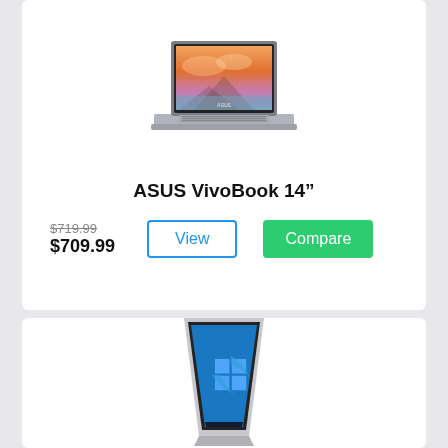[Figure (photo): ASUS VivoBook 14 laptop image, open showing mountain landscape wallpaper]
ASUS VivoBook 14"
$719.99 (strikethrough) $709.99 View Compare
[Figure (photo): Convertible laptop/tablet showing Windows 11 start screen, partially visible from bottom]